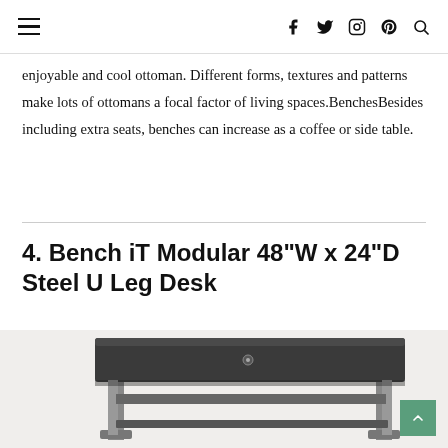≡  f  🐦  📷  𝙥  🔍
enjoyable and cool ottoman. Different forms, textures and patterns make lots of ottomans a focal factor of living spaces.BenchesBesides including extra seats, benches can increase as a coffee or side table.
4. Bench iT Modular 48"W x 24"D Steel U Leg Desk
[Figure (photo): A dark-colored Bench iT Modular steel U-leg desk with a wide top surface, viewed from a slight angle showing its structural frame legs.]